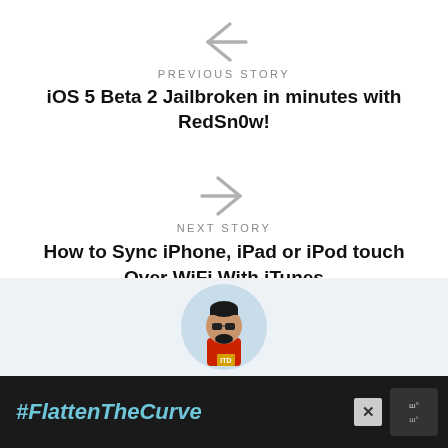[Figure (other): Left arrow navigation icon in gray]
PREVIOUS STORY
iOS 5 Beta 2 Jailbroken in minutes with RedSn0w!
[Figure (other): Right arrow navigation icon in gray]
NEXT STORY
How to Sync iPhone, iPad or iPod touch Over WiFi With iTunes
[Figure (illustration): Avatar illustration of a man in a red shirt with sunglasses, in a circular light blue background]
#FlattenTheCurve